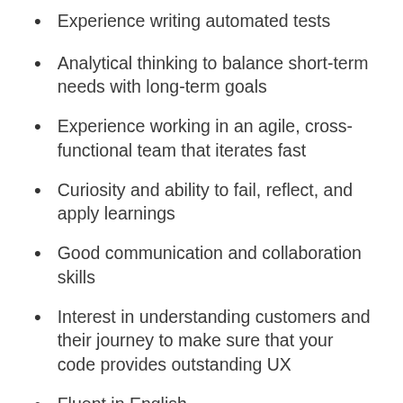Experience writing automated tests
Analytical thinking to balance short-term needs with long-term goals
Experience working in an agile, cross-functional team that iterates fast
Curiosity and ability to fail, reflect, and apply learnings
Good communication and collaboration skills
Interest in understanding customers and their journey to make sure that your code provides outstanding UX
Fluent in English